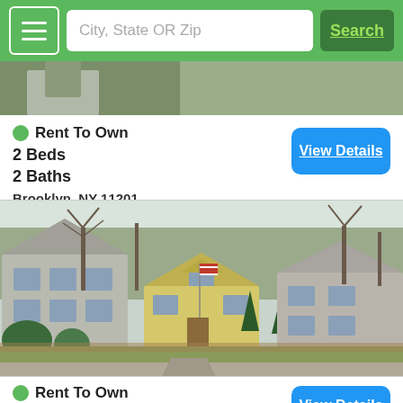City, State OR Zip | Search
Rent To Own
2 Beds
2 Baths
Brooklyn, NY 11201
View Details
[Figure (photo): Suburban street view showing multiple houses with bare trees in autumn/winter, including a small yellow house in the center with an American flag, and larger grey houses on either side.]
Rent To Own
3 Beds
View Details